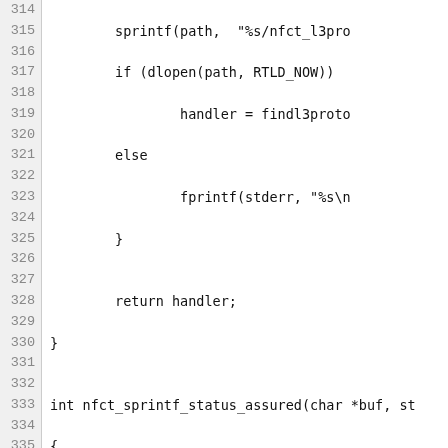[Figure (screenshot): Source code listing showing C functions nfct_sprintf_status_assured and nfct_sprintf_status_seen_reply with line numbers 314-344, displayed in a monospace code viewer with gray line number gutter.]